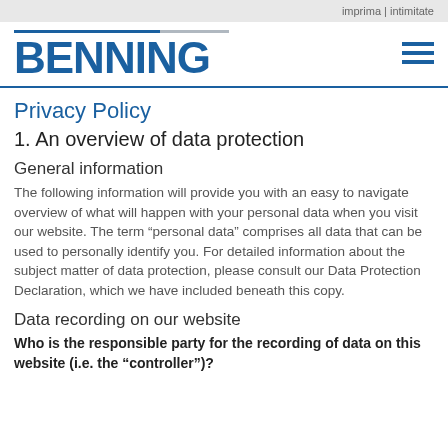imprima | intimitate
[Figure (logo): BENNING company logo in blue with horizontal line above, and hamburger menu icon on the right]
Privacy Policy
1. An overview of data protection
General information
The following information will provide you with an easy to navigate overview of what will happen with your personal data when you visit our website. The term “personal data” comprises all data that can be used to personally identify you. For detailed information about the subject matter of data protection, please consult our Data Protection Declaration, which we have included beneath this copy.
Data recording on our website
Who is the responsible party for the recording of data on this website (i.e. the “controller”)?